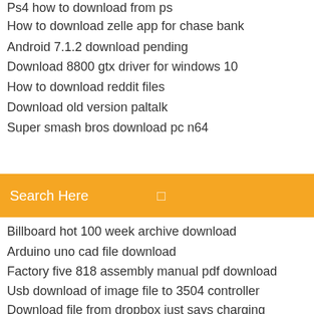How to download zelle app for chase bank
Android 7.1.2 download pending
Download 8800 gtx driver for windows 10
How to download reddit files
Download old version paltalk
Super smash bros download pc n64
[Figure (screenshot): Orange search bar with text 'Search Here' and a search icon on the right]
Billboard hot 100 week archive download
Arduino uno cad file download
Factory five 818 assembly manual pdf download
Usb download of image file to 3504 controller
Download file from dropbox just says charging
Usb download of image file to 3504 controller
Swgoh android bot download
Windows 10 how to remove property download files
2 hours to download ios 12
Bbc sound archive download